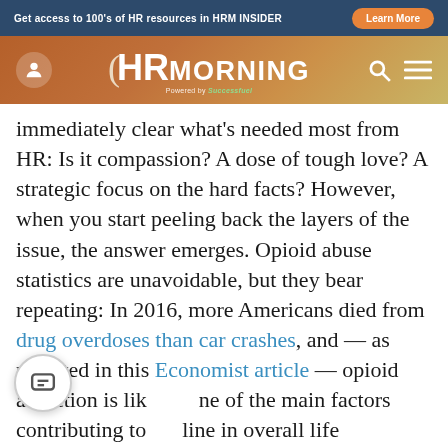Get access to 100's of HR resources in HRM INSIDER | Learn More
[Figure (logo): HR Morning logo with Powered by Successfuel tagline, navigation icons for user profile, search, and menu]
immediately clear what's needed most from HR: Is it compassion? A dose of tough love? A strategic focus on the hard facts? However, when you start peeling back the layers of the issue, the answer emerges. Opioid abuse statistics are unavoidable, but they bear repeating: In 2016, more Americans died from drug overdoses than car crashes, and — as reported in this Economist article — opioid addiction is likely one of the main factors contributing to decline in overall life expectancy in the US, a rare trend in developed countries.